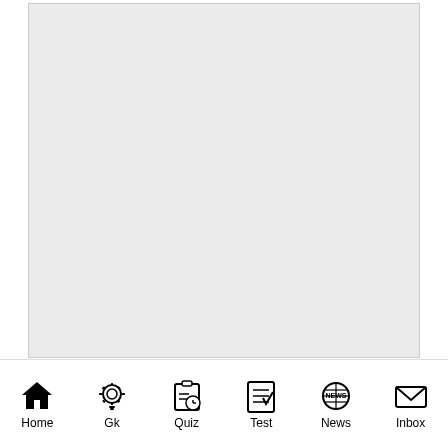[Figure (other): Gray advertisement placeholder box at top]
Sustainable Agriculture Practices and Farming Methods in India - UPSC GS Paper 3 Agriculture
[Figure (other): Gray advertisement placeholder box at bottom]
Home | Gk | Quiz | Test | News | Inbox